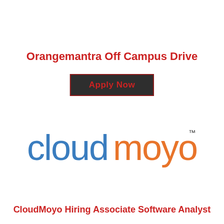Orangemantra Off Campus Drive
Apply Now
[Figure (logo): CloudMoyo company logo with 'cloud' in blue and 'moyo' in orange, with a TM superscript]
CloudMoyo Hiring Associate Software Analyst